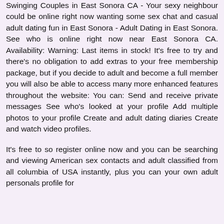Swinging Couples in East Sonora CA - Your sexy neighbour could be online right now wanting some sex chat and casual adult dating fun in East Sonora - Adult Dating in East Sonora. See who is online right now near East Sonora CA. Availability: Warning: Last items in stock! It's free to try and there's no obligation to add extras to your free membership package, but if you decide to adult and become a full member you will also be able to access many more enhanced features throughout the website: You can: Send and receive private messages See who's looked at your profile Add multiple photos to your profile Create and adult dating diaries Create and watch video profiles.
It's free to so register online now and you can be searching and viewing American sex contacts and adult classified from all columbia of USA instantly, plus you can your own adult personals profile for